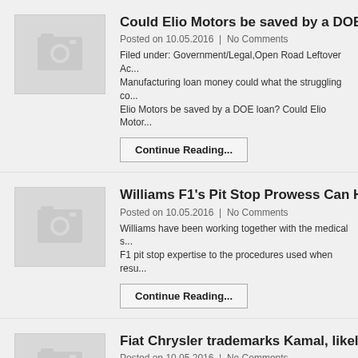[Figure (photo): Placeholder camera/photo icon thumbnail for article 1]
Could Elio Motors be saved by a DOE l...
Posted on 10.05.2016  |  No Comments
Filed under: Government/Legal,Open Road Leftover Ac... Manufacturing loan money could what the struggling co... Elio Motors be saved by a DOE loan? Could Elio Motor...
Continue Reading...
[Figure (photo): Placeholder camera/photo icon thumbnail for article 2]
Williams F1's Pit Stop Prowess Can He...
Posted on 10.05.2016  |  No Comments
Williams have been working together with the medical s... F1 pit stop expertise to the procedures used when resu...
Continue Reading...
[Figure (photo): Placeholder camera/photo icon thumbnail for article 3]
Fiat Chrysler trademarks Kamal, likely...
Posted on 10.05.2016  |  No Comments
Filed under: Alfa Romeo,Crossover,SUV,Luxury We thi... Romeo that hasn't been delayed yet.Continue reading f...